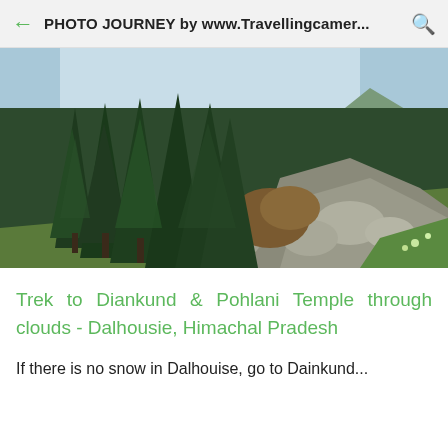PHOTO JOURNEY by www.Travellingcamer...
[Figure (photo): Landscape photo of dense conifer/pine forest with large boulders and green hillside vegetation under a partly cloudy blue sky, Dalhousie, Himachal Pradesh]
Trek to Diankund & Pohlani Temple through clouds - Dalhousie, Himachal Pradesh
If there is no snow in Dalhouise, go to Dainkund...